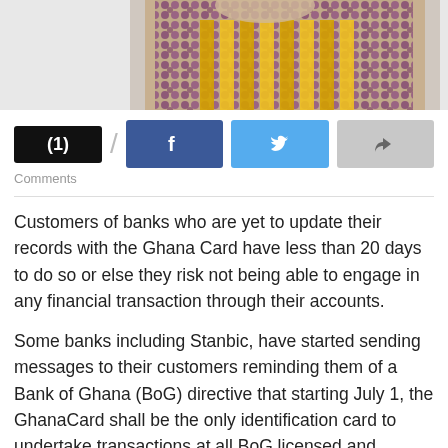[Figure (photo): Partial photo of a person wearing colorful patterned clothing and gold bead necklaces, cropped at the top of the page]
[Figure (screenshot): Social sharing UI bar with (1) comments badge in black, a Facebook share button in blue, a Twitter share button in light blue, and a grey share/forward button]
Comments
Customers of banks who are yet to update their records with the Ghana Card have less than 20 days to do so or else they risk not being able to engage in any financial transaction through their accounts.
Some banks including Stanbic, have started sending messages to their customers reminding them of a Bank of Ghana (BoG) directive that starting July 1, the GhanaCard shall be the only identification card to undertake transactions at all BoG licensed and regulated financial